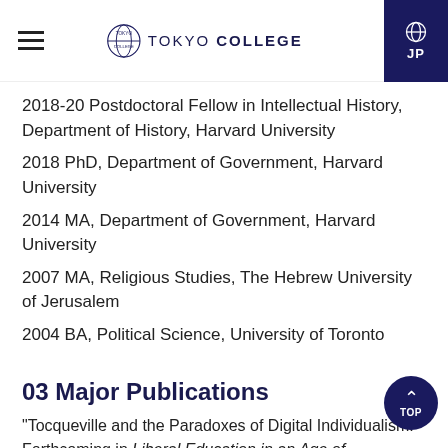TOKYO COLLEGE
2018-20 Postdoctoral Fellow in Intellectual History, Department of History, Harvard University
2018 PhD, Department of Government, Harvard University
2014 MA, Department of Government, Harvard University
2007 MA, Religious Studies, The Hebrew University of Jerusalem
2004 BA, Political Science, University of Toronto
03 Major Publications
"Tocqueville and the Paradoxes of Digital Individualism." Forthcoming in Liberal Education in an Age of Automation, edited by Karim Dharamsi. Wilmington, DE: Vernon Press (under contract).